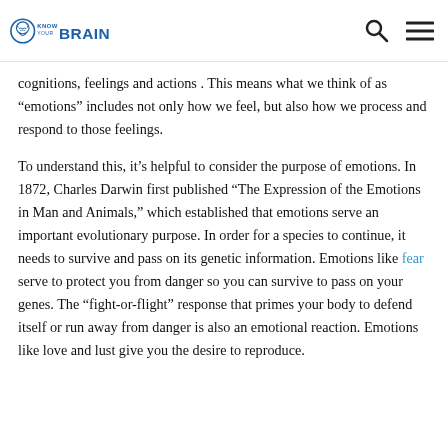Know Your Brain
cognitions, feelings and actions . This means what we think of as “emotions” includes not only how we feel, but also how we process and respond to those feelings.
To understand this, it’s helpful to consider the purpose of emotions. In 1872, Charles Darwin first published “The Expression of the Emotions in Man and Animals,” which established that emotions serve an important evolutionary purpose. In order for a species to continue, it needs to survive and pass on its genetic information. Emotions like fear serve to protect you from danger so you can survive to pass on your genes. The “fight-or-flight” response that primes your body to defend itself or run away from danger is also an emotional reaction. Emotions like love and lust give you the desire to reproduce.